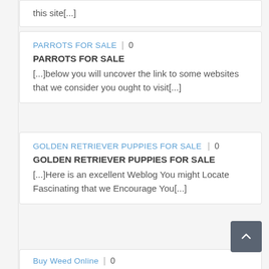this site[...]
PARROTS FOR SALE | 0
PARROTS FOR SALE
[...]below you will uncover the link to some websites that we consider you ought to visit[...]
GOLDEN RETRIEVER PUPPIES FOR SALE | 0
GOLDEN RETRIEVER PUPPIES FOR SALE
[...]Here is an excellent Weblog You might Locate Fascinating that we Encourage You[...]
Buy Weed Online | 0